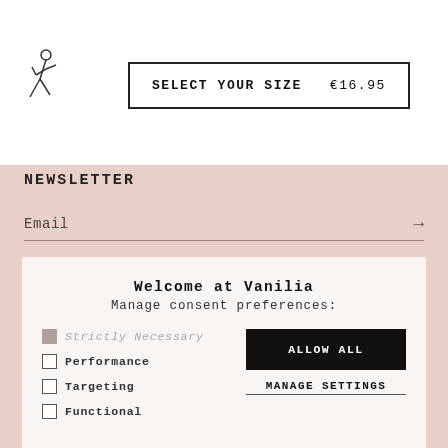[Figure (logo): Vanilia brand logo: stylized figure of a person]
SELECT YOUR SIZE   €16.95
NEWSLETTER
Email →
Welcome at Vanilia
Manage consent preferences:
Strictly Necessary
Performance
Targeting
Functional
ALLOW ALL
MANAGE SETTINGS